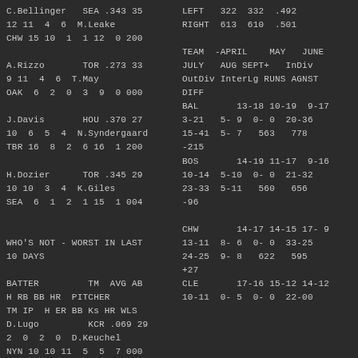C.Bellinger   SEA .343 35
12 11  4  6  M.Leake
CHW 15 10  1  1 12  0 200
A.Rizzo       TOR .273 33
9 11  4  6  T.May
OAK  6  2  0  3  9  0 000
J.Davis       HOU .370 27
10  6  5  4  N.Syndergaard
TBR 16  8  2  6 16  1 200
H.Dozier      TOR .345 29
10 10  3  4  K.Giles
SEA  6  1  2  1 15  1 004

WHO'S NOT - WORST IN LAST
10 DAYS

BATTER         TM  AVG AB
H RB BB HR  PITCHER
TM IP  H ER BB Ks HR WLS
D.Lugo         KCR .069 29
2  0  2  0  D.Keuchel
NYN 10 10 11  5  5  7 000
LEFT   322  332  .492
RIGHT  613  610  .501

TEAM  -APRIL    MAY   JUNE
JULY   AUG SEPT+   InDiv
OutDiv InterLg RUNS AGNST
DIFF
BAL       13-18 10-19  9-17
3-21   5- 9  0- 0  20-36
15-41  5- 7   563   778
-215
BOS       14-19 11-17  9-16
10-14  5-10  0- 0  21-32
23-33  5-11   560   656
-96
CHW       14-17 14-15 17- 9
13-11  8- 6  0- 0  33-25
24-25  9- 8   622   595
+27
CLE       17-16 15-12 14-12
10-11  0- 5  0- 0  22-00